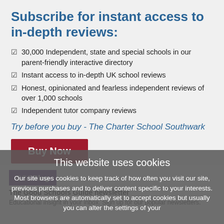Subscribe for instant access to in-depth reviews:
30,000 Independent, state and special schools in our parent-friendly interactive directory
Instant access to in-depth UK school reviews
Honest, opinionated and fearless independent reviews of over 1,000 schools
Independent tutor company reviews
Try before you buy - The Charter School Southwark
Buy Now
This website uses cookies
Our site uses cookies to keep track of how often you visit our site, previous purchases and to deliver content specific to your interests. Most browsers are automatically set to accept cookies but usually you can alter the settings of your
GSG Blog
The Good Schools Guide newsletter
Educational insight in your inbox. Sign up for our popular newsletters.